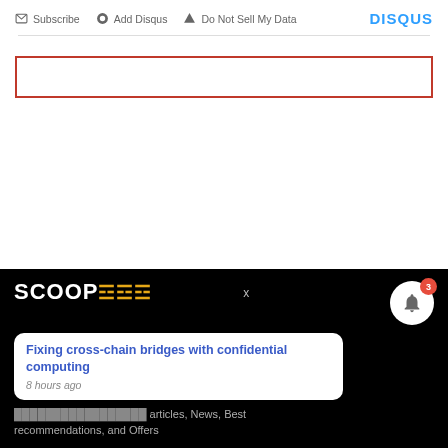Subscribe   Add Disqus   Do Not Sell My Data   DISQUS
[Figure (screenshot): Red-outlined empty text input field (comment box)]
[Figure (screenshot): Black footer with SCOOP logo with flame icons, dismiss X, bell icon with badge count 3, notification card showing 'Fixing cross-chain bridges with confidential computing 8 hours ago', and partial text about recommendations and offers]